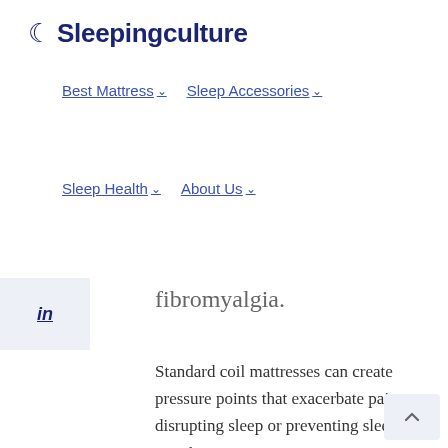🌙 Sleepingculture
Best Mattress ∨  Sleep Accessories ∨
Sleep Health ∨  About Us ∨
fibromyalgia.
Standard coil mattresses can create pressure points that exacerbate pain, disrupting sleep or preventing sleep all together.
But memory foam, latex, and